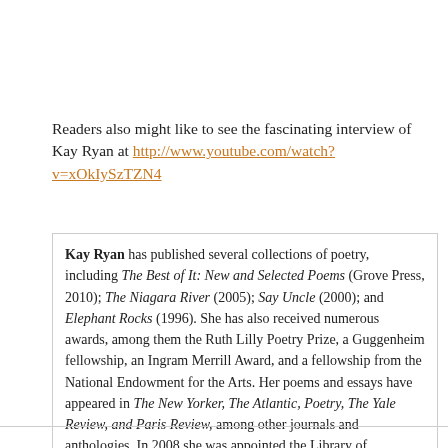Readers also might like to see the fascinating interview of Kay Ryan at http://www.youtube.com/watch?v=xOkIySzTZN4
Kay Ryan has published several collections of poetry, including The Best of It: New and Selected Poems (Grove Press, 2010); The Niagara River (2005); Say Uncle (2000); and Elephant Rocks (1996). She has also received numerous awards, among them the Ruth Lilly Poetry Prize, a Guggenheim fellowship, an Ingram Merrill Award, and a fellowship from the National Endowment for the Arts. Her poems and essays have appeared in The New Yorker, The Atlantic, Poetry, The Yale Review, and Paris Review, among other journals and anthologies. In 2008 she was appointed the Library of Congress's sixteenth Poet Laureate Consultant in Poetry.